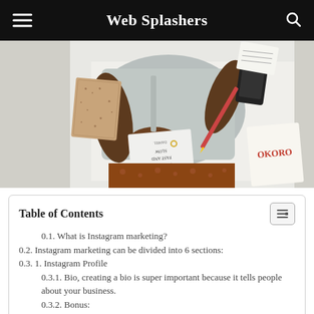Web Splashers
[Figure (photo): Overhead view of a person lying on white sheets holding a book, surrounded by other books, a phone, a pen and notebook. One book shows 'THINKING FAST AND SLOW' upside down. Another book on the right has 'OKORO' on the cover.]
Table of Contents
0.1. What is Instagram marketing?
0.2. Instagram marketing can be divided into 6 sections:
0.3. 1. Instagram Profile
0.3.1. Bio, creating a bio is super important because it tells people about your business.
0.3.2. Bonus: